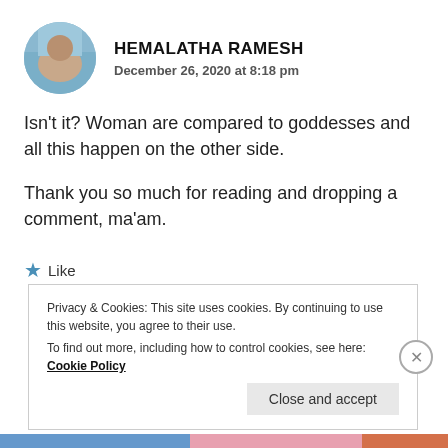[Figure (photo): Circular avatar photo showing a person, with blue sky background]
HEMALATHA RAMESH
December 26, 2020 at 8:18 pm
Isn't it? Woman are compared to goddesses and all this happen on the other side.
Thank you so much for reading and dropping a comment, ma'am.
★ Like
Privacy & Cookies: This site uses cookies. By continuing to use this website, you agree to their use.
To find out more, including how to control cookies, see here: Cookie Policy
Close and accept